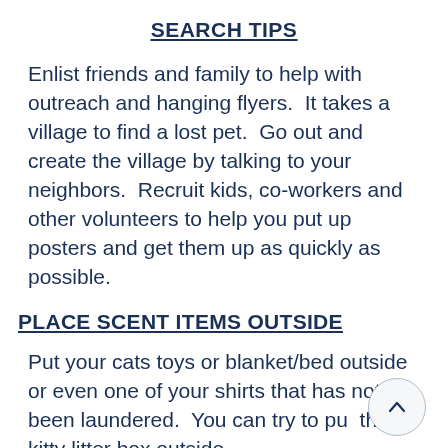SEARCH TIPS
Enlist friends and family to help with outreach and hanging flyers.  It takes a village to find a lost pet.  Go out and create the village by talking to your neighbors.  Recruit kids, co-workers and other volunteers to help you put up posters and get them up as quickly as possible.
PLACE SCENT ITEMS OUTSIDE
Put your cats toys or blanket/bed outside or even one of your shirts that has not been laundered.  You can try to put the kitty litter box outside